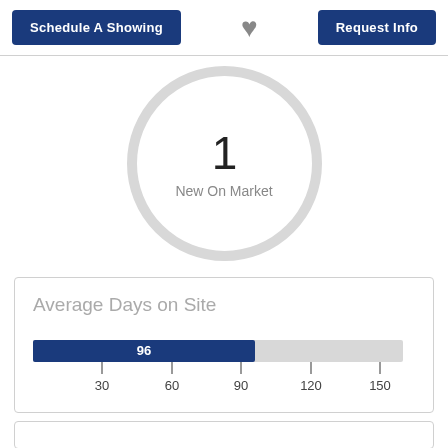Schedule A Showing | [heart] | Request Info
[Figure (other): Large circle graphic showing '1 New On Market']
1
New On Market
Average Days on Site
[Figure (bar-chart): Average Days on Site]